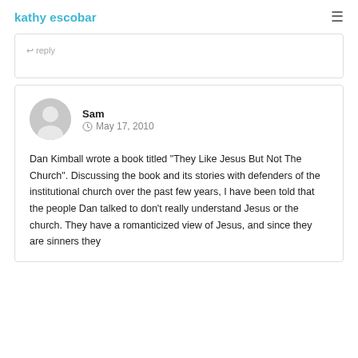kathy escobar
↩ reply
Sam  May 17, 2010

Dan Kimball wrote a book titled "They Like Jesus But Not The Church". Discussing the book and its stories with defenders of the institutional church over the past few years, I have been told that the people Dan talked to don't really understand Jesus or the church. They have a romanticized view of Jesus, and since they are sinners they